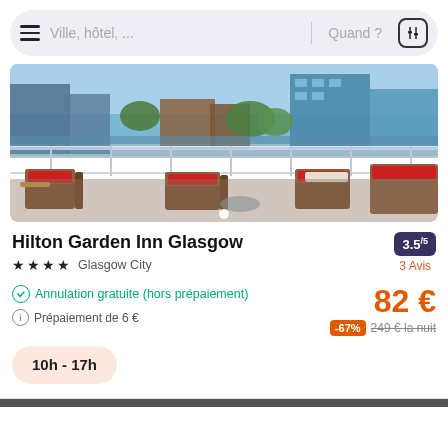Ville, hôtel, ...  Quand ?
[Figure (photo): Outdoor hotel terrace with wicker furniture, red cushions, glass railing, and city buildings in background]
Hilton Garden Inn Glasgow
3.5/5  3 Avis
★★★★ Glasgow City
Annulation gratuite (hors prépaiement)
Prépaiement de 6 €
82 €
-67%  249 € la nuit
10h - 17h